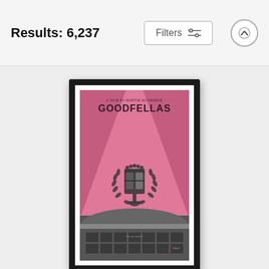Results: 6,237
[Figure (screenshot): Filters button with sliders icon]
[Figure (illustration): Framed minimalist Goodfellas movie poster showing pink background with Cadillac emblem, spotlight beams, and a building with windows at the bottom. Text reads 'A FILM BY MARTIN SCORSESE' and 'GOODFELLAS']